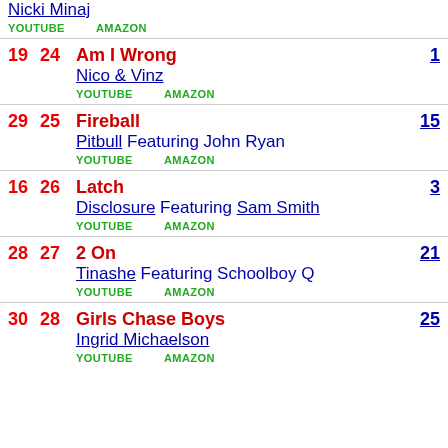Nicki Minaj | YOUTUBE AMAZON
19 24 Am I Wrong | Nico & Vinz | YOUTUBE AMAZON | 1
29 25 Fireball | Pitbull Featuring John Ryan | YOUTUBE AMAZON | 15
16 26 Latch | Disclosure Featuring Sam Smith | YOUTUBE AMAZON | 3
28 27 2 On | Tinashe Featuring Schoolboy Q | YOUTUBE AMAZON | 21
30 28 Girls Chase Boys | Ingrid Michaelson | YOUTUBE AMAZON | 25